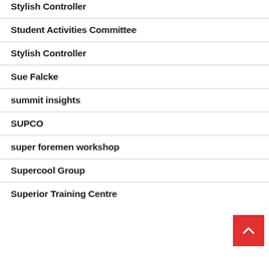Stylish Controller
Student Activities Committee
Stylish Controller
Sue Falcke
summit insights
SUPCO
super foremen workshop
Supercool Group
Superior Training Centre